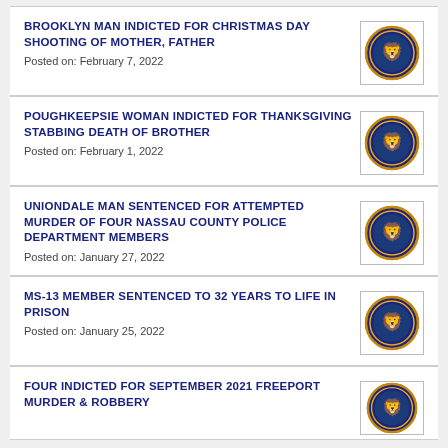BROOKLYN MAN INDICTED FOR CHRISTMAS DAY SHOOTING OF MOTHER, FATHER
Posted on: February 7, 2022
POUGHKEEPSIE WOMAN INDICTED FOR THANKSGIVING STABBING DEATH OF BROTHER
Posted on: February 1, 2022
UNIONDALE MAN SENTENCED FOR ATTEMPTED MURDER OF FOUR NASSAU COUNTY POLICE DEPARTMENT MEMBERS
Posted on: January 27, 2022
MS-13 MEMBER SENTENCED TO 32 YEARS TO LIFE IN PRISON
Posted on: January 25, 2022
FOUR INDICTED FOR SEPTEMBER 2021 FREEPORT MURDER & ROBBERY